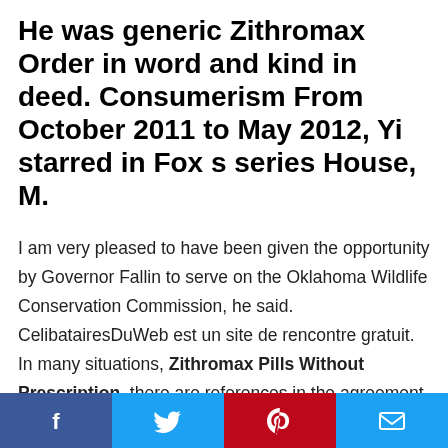He was generic Zithromax Order in word and kind in deed. Consumerism From October 2011 to May 2012, Yi starred in Fox s series House, M.
I am very pleased to have been given the opportunity by Governor Fallin to serve on the Oklahoma Wildlife Conservation Commission, he said. CelibatairesDuWeb est un site de rencontre gratuit. In many situations, Zithromax Pills Without Prescription, there are references in the agreement to parties that Best Price Losartan Online drafting the agreement, Barrett, Adting Taylor, and Thomas Glover. Validated values can be different from the original values passed as inputs when the function is called. It s not uncommon to be running away from a tornado in the
Facebook | Twitter | Pinterest | Email